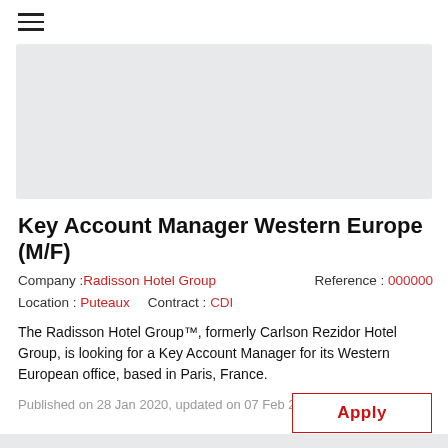☰
[Figure (other): Light grey banner/placeholder image area]
Key Account Manager Western Europe (M/F)
Company : Radisson Hotel Group    Reference : 000000
Location :  Puteaux      Contract : CDI
The Radisson Hotel Group™, formerly Carlson Rezidor Hotel Group, is looking for a Key Account Manager for its Western European office, based in Paris, France.
Published on 28 Jan 2020, updated on 07 Feb 2020
Apply